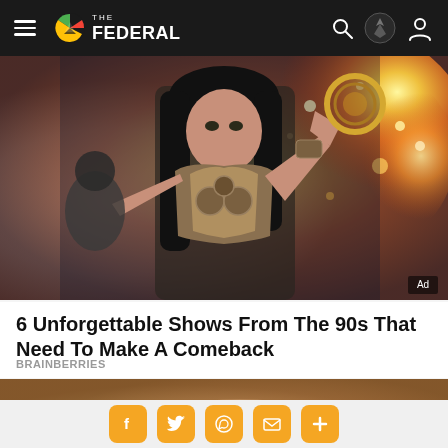THE FEDERAL
[Figure (photo): A woman in warrior armor holding a circular weapon (chakram) with fire/explosion in background — promotional image from a 90s TV show, with 'Ad' badge in bottom right corner]
6 Unforgettable Shows From The 90s That Need To Make A Comeback
BRAINBERRIES
[Figure (photo): Close-up of fingers holding or touching a fuzzy caterpillar]
Social share buttons: Facebook, Twitter, WhatsApp, Email, More